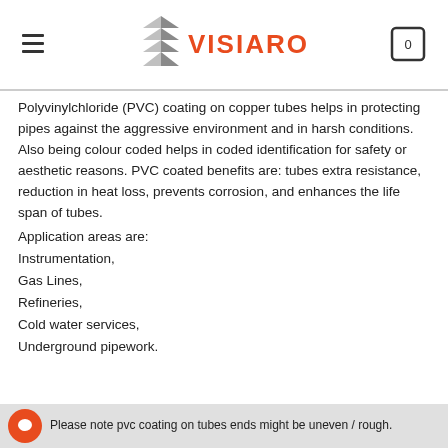VISIARO
Polyvinylchloride (PVC) coating on copper tubes helps in protecting pipes against the aggressive environment and in harsh conditions. Also being colour coded helps in coded identification for safety or aesthetic reasons. PVC coated benefits are: tubes extra resistance, reduction in heat loss, prevents corrosion, and enhances the life span of tubes.
Application areas are:
Instrumentation,
Gas Lines,
Refineries,
Cold water services,
Underground pipework.
Please note pvc coating on tubes ends might be uneven / rough.